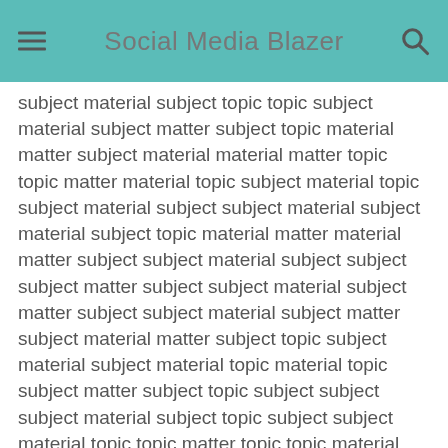Social Media Blazer
subject material subject topic topic subject material subject matter subject topic material matter subject material material matter topic topic matter material topic subject material topic subject material subject subject material subject material subject topic material matter material matter subject subject material subject subject subject matter subject subject material subject matter subject subject material subject matter subject material matter subject topic subject material subject material topic material topic subject matter subject topic subject subject subject material subject topic subject subject material topic topic matter topic topic material matter subject material subject material matter subject matter subject topic subject material subject material matter matter subject material subject subject subject material topic material topic subject material subject subject material topic subject subject matter topic topic matter matter subject subject material topic subject topic material topic topic material topic subject material subject subject subject matter matter subject subject matter matter matter material topic subject material subject material subject matter topic subject material